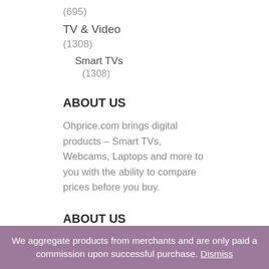(695)
TV & Video
(1308)
Smart TVs
(1308)
ABOUT US
Ohprice.com brings digital products – Smart TVs, Webcams, Laptops and more to you with the ability to compare prices before you buy.
ABOUT US
Ohprice.com brings digital products – Smart
We aggregate products from merchants and are only paid a commission upon successful purchase. Dismiss